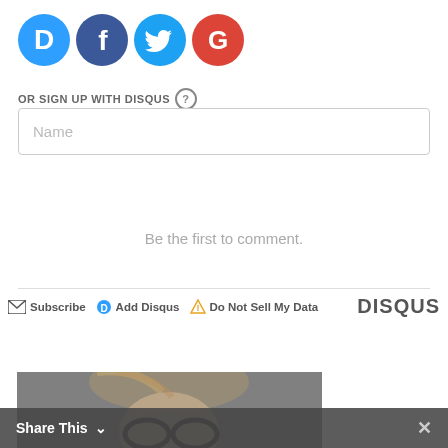[Figure (other): Social login icons: Disqus (blue D), Facebook (blue f), Twitter (blue bird), Google (red G) — circular icons]
OR SIGN UP WITH DISQUS ?
[Figure (other): Name input text field with placeholder text 'Name']
Be the first to comment.
[Figure (other): Footer bar with Subscribe, Add Disqus, Do Not Sell My Data links and DISQUS logo on the right]
[Figure (photo): Partial photo of a person with glasses — cropped at top of page bottom]
Share This ∨
×